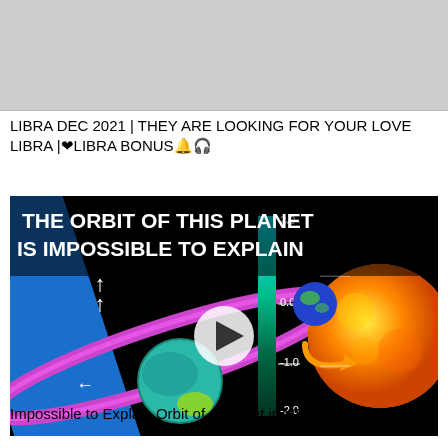[Figure (photo): Partial top portion of a video thumbnail — grey/white background, cropped at top]
LIBRA DEC 2021 | THEY ARE LOOKING FOR YOUR LOVE LIBRA |❤LIBRA BONUS🔔🎧
[Figure (screenshot): Video thumbnail titled 'THE ORBIT OF THIS PLANET IS IMPOSSIBLE TO EXPLAIN' showing a scientific illustration with a blue and magenta orbital ring around a teal planet on the left, and a blue earth-like planet orbiting close to a bright orange star on the right, with a teal color scale bar in the center showing values from -2.0 to 2.0, a white play button circle in the center, and an orange arrow pointing at the star.]
Impossible to Explain Orbit of a Planet in HD 3167 Star System